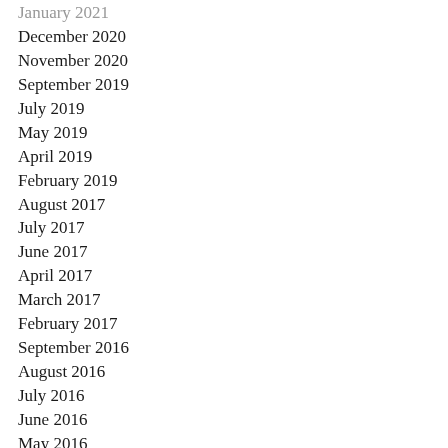January 2021
December 2020
November 2020
September 2019
July 2019
May 2019
April 2019
February 2019
August 2017
July 2017
June 2017
April 2017
March 2017
February 2017
September 2016
August 2016
July 2016
June 2016
May 2016
April 2016